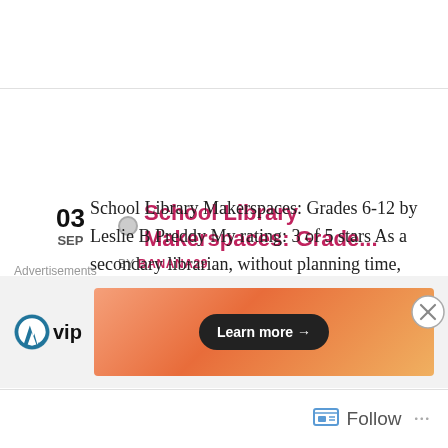03 SEP · School Library Makerspaces: Grade... · BY BANANA29
School Library Makerspaces: Grades 6-12 by Leslie B Preddy My rating: 3 of 5 stars As a secondary librarian, without planning time, without my own students focused on design/construction/creativity, I'm launching a full-time makerspace this fall that is filled with mostly donated items from the now-extinct home economics and fashion programs at my school. We [...]
Advertisements
[Figure (logo): WordPress VIP logo with orange gradient ad banner and Learn more button]
Follow